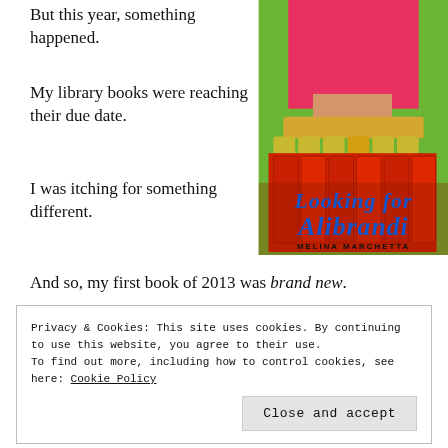But this year, something happened.
My library books were reaching their due date.
I was itching for something different.
[Figure (photo): Book cover of 'Looking for Alibrandi' by Melina Marchetta, showing a woman in a red top with jars of preserved tomatoes, with blue cursive title text on a green background.]
And so, my first book of 2013 was brand new.
Privacy & Cookies: This site uses cookies. By continuing to use this website, you agree to their use.
To find out more, including how to control cookies, see here: Cookie Policy
Close and accept